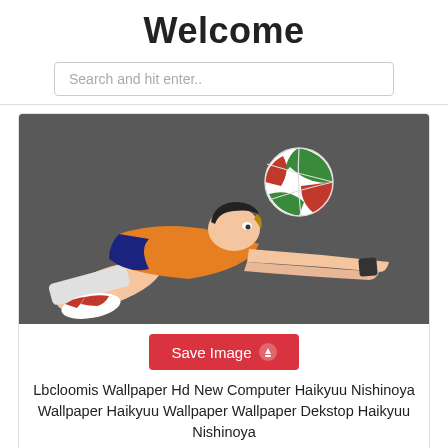Welcome
Search and hit enter..
[Figure (illustration): Anime illustration of a volleyball player in an orange and dark blue uniform diving to receive a volleyball. The ball is green, white, and red. Background is dark grey.]
Save Image
Lbcloomis Wallpaper Hd New Computer Haikyuu Nishinoya Wallpaper Haikyuu Wallpaper Wallpaper Dekstop Haikyuu Nishinoya